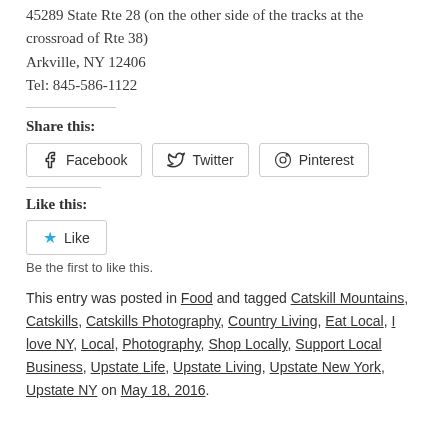45289 State Rte 28 (on the other side of the tracks at the crossroad of Rte 38)
Arkville, NY 12406
Tel: 845-586-1122
Share this:
Facebook  Twitter  Pinterest
Like this:
Like
Be the first to like this.
This entry was posted in Food and tagged Catskill Mountains, Catskills, Catskills Photography, Country Living, Eat Local, I love NY, Local, Photography, Shop Locally, Support Local Business, Upstate Life, Upstate Living, Upstate New York, Upstate NY on May 18, 2016.